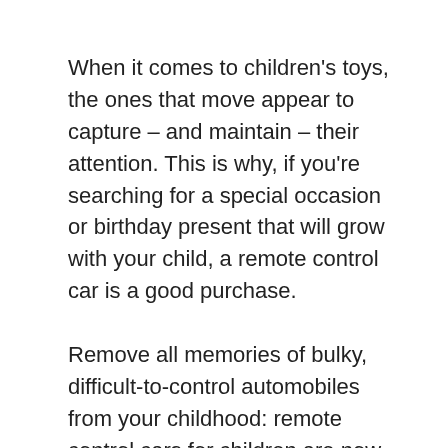When it comes to children's toys, the ones that move appear to capture – and maintain – their attention. This is why, if you're searching for a special occasion or birthday present that will grow with your child, a remote control car is a good purchase.
Remove all memories of bulky, difficult-to-control automobiles from your childhood: remote control cars for children are now as sleek as their full-sized counterparts in today's time.
There's something for everyone in this wide selection. From on-the-go automobiles to stunt racers and even cars controlled via an app or video gaming console, there's something for everyone.